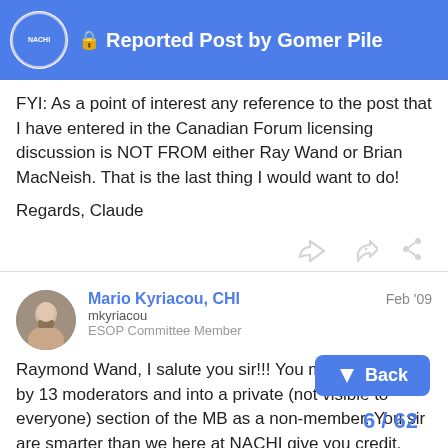Reported Post by Gomer Pile
FYI: As a point of interest any reference to the post that I have entered in the Canadian Forum licensing discussion is NOT FROM either Ray Wand or Brian MacNeish. That is the last thing I would want to do!
Regards, Claude
Mario Kyriacou, CHI
mkyriacou
ESOP Committee Member
Feb '09
Raymond Wand, I salute you sir!!! You managed to get by 13 moderators and into a private (not visible to everyone) section of the MB as a non-member. You sir are smarter than we here at NACHI give you credit.
NOW Who is the as...shole moderator tha... happen? You should fking resign from this... REASON: INCOMPETENCE